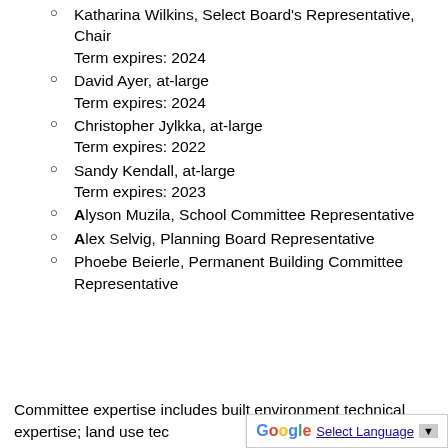Katharina Wilkins, Select Board's Representative, Chair
Term expires: 2024
David Ayer, at-large
Term expires: 2024
Christopher Jylkka, at-large
Term expires: 2022
Sandy Kendall, at-large
Term expires: 2023
Alyson Muzila, School Committee Representative
Alex Selvig, Planning Board Representative
Phoebe Beierle, Permanent Building Committee Representative
Committee expertise includes built environment technical expertise; land use tec